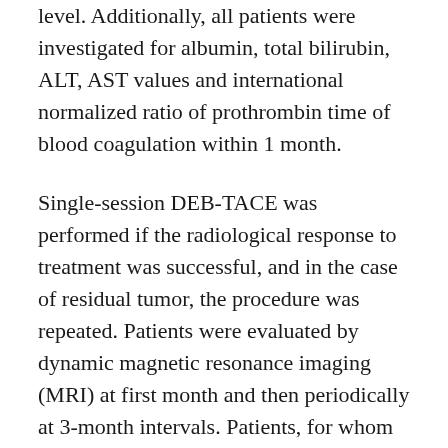level. Additionally, all patients were investigated for albumin, total bilirubin, ALT, AST values and international normalized ratio of prothrombin time of blood coagulation within 1 month.
Single-session DEB-TACE was performed if the radiological response to treatment was successful, and in the case of residual tumor, the procedure was repeated. Patients were evaluated by dynamic magnetic resonance imaging (MRI) at first month and then periodically at 3-month intervals. Patients, for whom MRI could not be performed, were evaluated by multiphase multidetector computed tomography (CT). MRI 1.5 Tesla device (Signa Excite, General Electric Healthcare, IL) and multidetector CT device (Asteion 4, Toshiba Medical, Japan) were used for follow-up